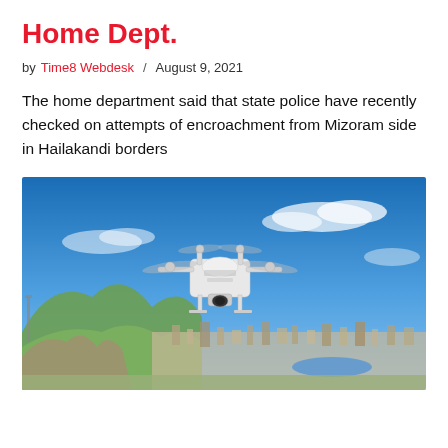Home Dept.
by Time8 Webdesk / August 9, 2021
The home department said that state police have recently checked on attempts of encroachment from Mizoram side in Hailakandi borders
[Figure (photo): A white quadcopter drone flying in a blue sky with a city and hilly landscape visible in the background below.]